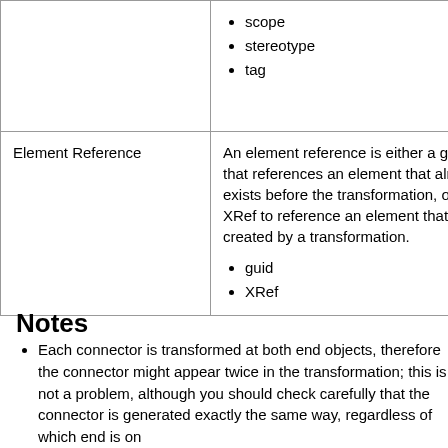|  |  |
| --- | --- |
|  | scope
stereotype
tag |
| Element Reference | An element reference is either a guid that references an element that already exists before the transformation, or an XRef to reference an element that is created by a transformation.

guid
XRef |
Notes
Each connector is transformed at both end objects, therefore the connector might appear twice in the transformation; this is not a problem, although you should check carefully that the connector is generated exactly the same way, regardless of which end is on